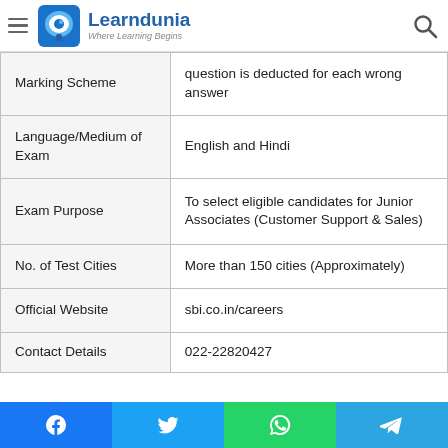Learndunia — Where Learning Begins
|  |  |
| --- | --- |
| Marking Scheme | question is deducted for each wrong answer |
| Language/Medium of Exam | English and Hindi |
| Exam Purpose | To select eligible candidates for Junior Associates (Customer Support & Sales) |
| No. of Test Cities | More than 150 cities (Approximately) |
| Official Website | sbi.co.in/careers |
| Contact Details | 022-22820427 |